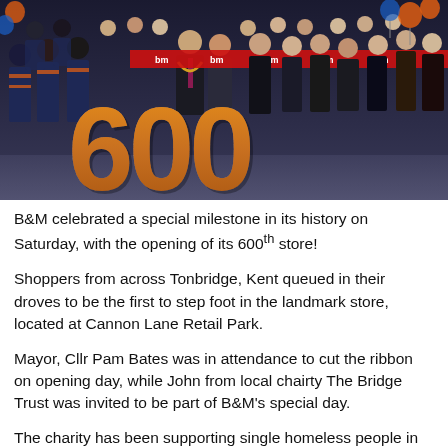[Figure (photo): Group photo of many people standing behind large '600' prop made of cork/wicker material, celebrating the opening of B&M's 600th store. People in orange and navy team jerseys on the left, staff and officials in the center and right. A red ribbon is visible across the top right. Balloons visible in background.]
B&M celebrated a special milestone in its history on Saturday, with the opening of its 600th store!
Shoppers from across Tonbridge, Kent queued in their droves to be the first to step foot in the landmark store, located at Cannon Lane Retail Park.
Mayor, Cllr Pam Bates was in attendance to cut the ribbon on opening day, while John from local chairty The Bridge Trust was invited to be part of B&M's special day.
The charity has been supporting single homeless people in west Kent since 1991. They offer advice, accommodation and support to help homeless people transform their lives and achieve